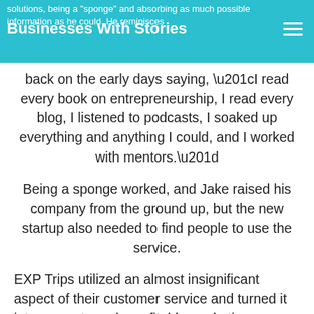solutions, being a "sponge" and absorbing as much possible information as he could. He reminisces
Businesses With Stories
back on the early days saying, “I read every book on entrepreneurship, I read every blog, I listened to podcasts, I soaked up everything and anything I could, and I worked with mentors.”
Being a sponge worked, and Jake raised his company from the ground up, but the new startup also needed to find people to use the service.
EXP Trips utilized an almost insignificant aspect of their customer service and turned it into one extremely profitable marketing strategy: Cookie Marketing.
Cookie Marketing